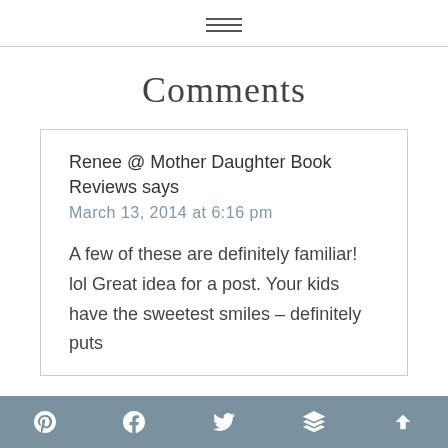[hamburger menu icon]
Comments
Renee @ Mother Daughter Book Reviews says
March 13, 2014 at 6:16 pm

A few of these are definitely familiar! lol Great idea for a post. Your kids have the sweetest smiles – definitely puts
[Pinterest] [Facebook] [Twitter] [Buffer] [Up arrow]